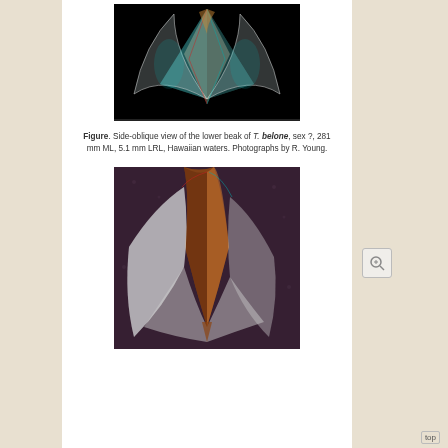[Figure (photo): Side-oblique view of the lower beak of T. belone, showing translucent beak structure against dark background, anaglyph-style coloring]
Figure. Side-oblique view of the lower beak of T. belone, sex ?, 281 mm ML, 5.1 mm LRL, Hawaiian waters. Photographs by R. Young.
[Figure (photo): Close-up side-oblique view of the lower beak of T. belone showing brown and white beak structure against dark textured background, anaglyph-style coloring]